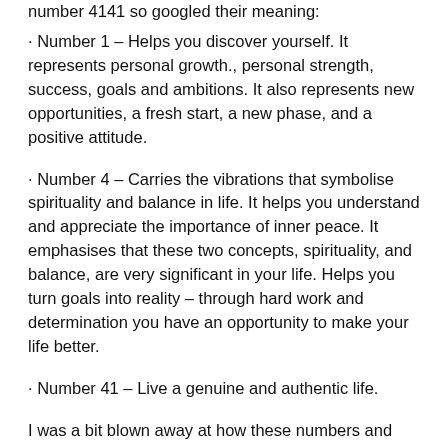number 4141 so googled their meaning:
· Number 1 – Helps you discover yourself. It represents personal growth., personal strength, success, goals and ambitions. It also represents new opportunities, a fresh start, a new phase, and a positive attitude.
· Number 4 – Carries the vibrations that symbolise spirituality and balance in life. It helps you understand and appreciate the importance of inner peace. It emphasises that these two concepts, spirituality, and balance, are very significant in your life. Helps you turn goals into reality – through hard work and determination you have an opportunity to make your life better.
· Number 41 – Live a genuine and authentic life.
I was a bit blown away at how these numbers and their meanings resonated with my feelings and thoughts towards the challenge completed. I do strongly believe in